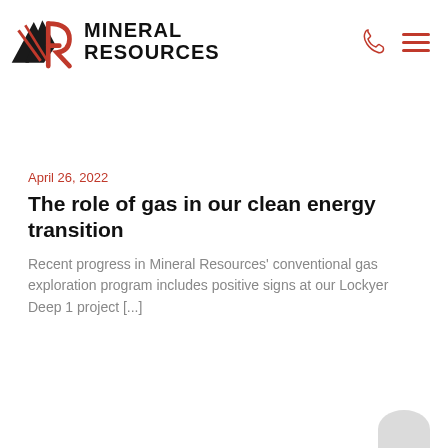[Figure (logo): Mineral Resources logo with mountain/arrow graphic and bold text MINERAL RESOURCES]
April 26, 2022
The role of gas in our clean energy transition
Recent progress in Mineral Resources' conventional gas exploration program includes positive signs at our Lockyer Deep 1 project [...]